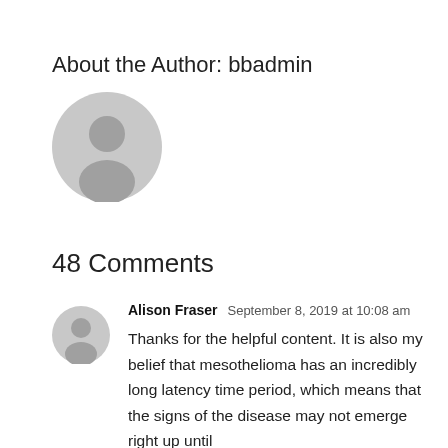About the Author: bbadmin
[Figure (illustration): Grey circular default user avatar icon, large size]
48 Comments
[Figure (illustration): Grey circular default user avatar icon, small size for comment]
Alison Fraser  September 8, 2019 at 10:08 am

Thanks for the helpful content. It is also my belief that mesothelioma has an incredibly long latency time period, which means that the signs of the disease may not emerge right up until